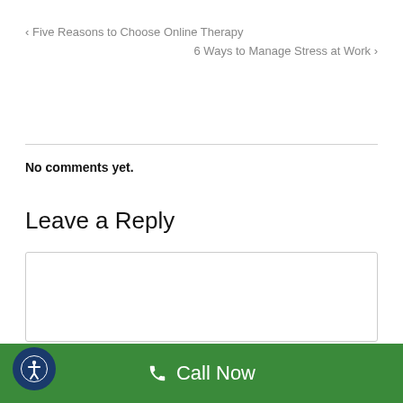< Five Reasons to Choose Online Therapy
6 Ways to Manage Stress at Work >
No comments yet.
Leave a Reply
[Figure (other): Empty text area input box for leaving a comment/reply]
Call Now